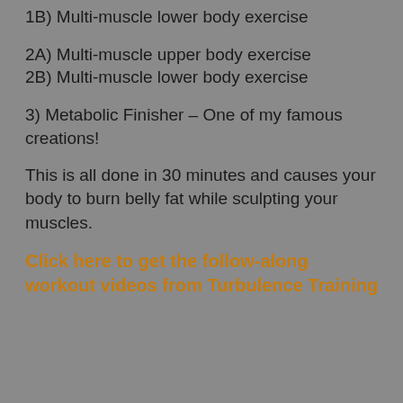1B) Multi-muscle lower body exercise
2A) Multi-muscle upper body exercise
2B) Multi-muscle lower body exercise
3) Metabolic Finisher – One of my famous creations!
This is all done in 30 minutes and causes your body to burn belly fat while sculpting your muscles.
Click here to get the follow-along workout videos from Turbulence Training